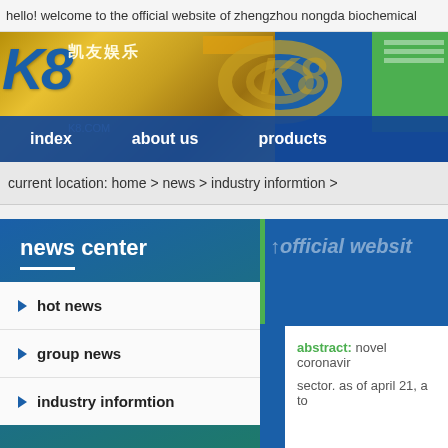hello! welcome to the official website of zhengzhou nongda biochemical
[Figure (screenshot): K8 casino brand navigation banner with gold K8 logo on left, large blurred K8 emblem in center, navigation links: index, about us, products, and a green block on the right]
current location: home > news > industry informtion >
news center
hot news
group news
industry informtion
abstract: novel coronavirus... sector. as of april 21, a to